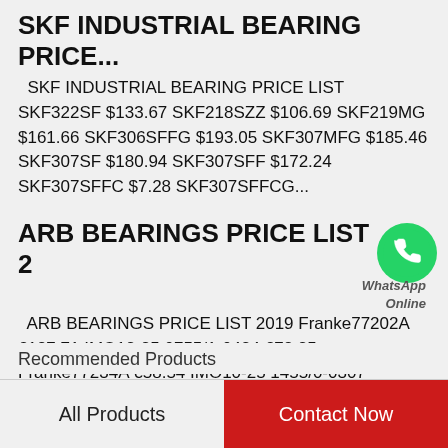SKF INDUSTRIAL BEARING PRICE...
SKF INDUSTRIAL BEARING PRICE LIST SKF322SF $133.67 SKF218SZZ $106.69 SKF219MG $161.66 SKF306SFFG $193.05 SKF307MFG $185.46 SKF307SF $180.94 SKF307SFF $172.24 SKF307SFFC $7.28 SKF307SFFCG...
ARB BEARINGS PRICE LIST 2
[Figure (logo): WhatsApp green circle logo with phone icon and text 'WhatsApp Online']
ARB BEARINGS PRICE LIST 2019 Franke77202A €187.71 IMO12-25 0755/1-0424 €72.25 Franke77234A €58.54 IMO10-25 1455/0-0307 €128.50 Franke66145L €152.94 IMO12-25 0455/1-0421 €176.40 Franke77310A €182.45...
Recommended Products
All Products
Contact Now